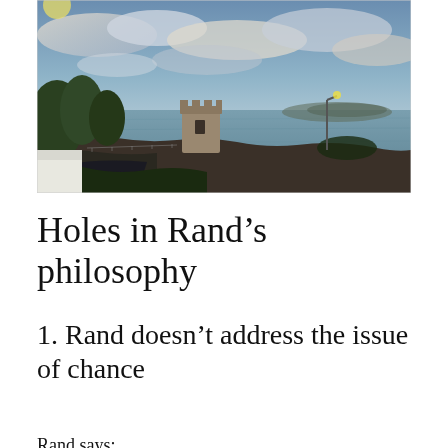[Figure (photo): Coastal landscape photograph showing a stone Martello tower on a rocky promontory overlooking a calm sea bay at dusk or dawn. Lush green trees visible on the left, a streetlamp on the right, an island visible in the background across the water, and a dramatic cloudy sky with blue and pink hues.]
Holes in Rand’s philosophy
1. Rand doesn’t address the issue of chance
Rand says: